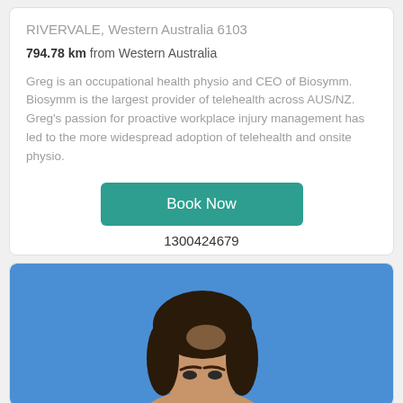RIVERVALE, Western Australia 6103
794.78 km from Western Australia
Greg is an occupational health physio and CEO of Biosymm. Biosymm is the largest provider of telehealth across AUS/NZ. Greg's passion for proactive workplace injury management has led to the more widespread adoption of telehealth and onsite physio.
Book Now
1300424679
[Figure (photo): Profile photo of a person with dark hair against a blue background]